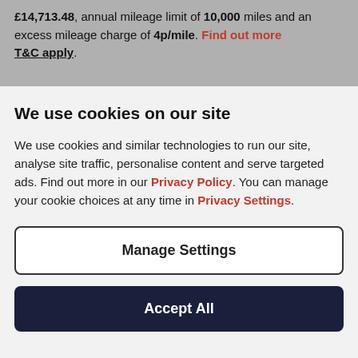£14,713.48, annual mileage limit of 10,000 miles and an excess mileage charge of 4p/mile. Find out more T&C apply.
We use cookies on our site
We use cookies and similar technologies to run our site, analyse site traffic, personalise content and serve targeted ads. Find out more in our Privacy Policy. You can manage your cookie choices at any time in Privacy Settings.
Manage Settings
Accept All